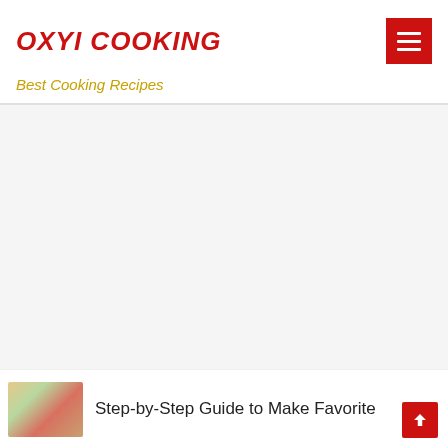OXYI COOKING
Best Cooking Recipes
[Figure (photo): Large white/gray content area placeholder for a recipe photo or advertisement]
[Figure (photo): Thumbnail image of a food dish (appears to be a colorful recipe with vegetables)]
Step-by-Step Guide to Make Favorite